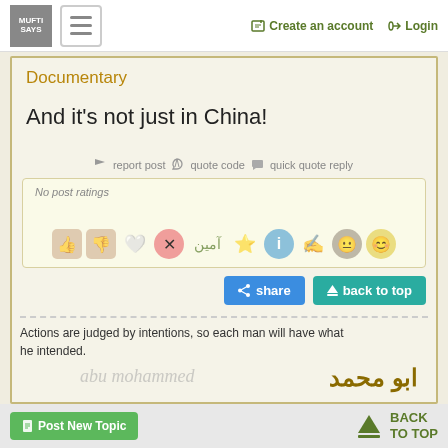MUFTI SAYS | ≡ | Create an account | Login
Documentary
And it's not just in China!
report post  quote code  quick quote reply
No post ratings
share  back to top
Actions are judged by intentions, so each man will have what he intended.
ابو محمد
Post New Topic  BACK TO TOP